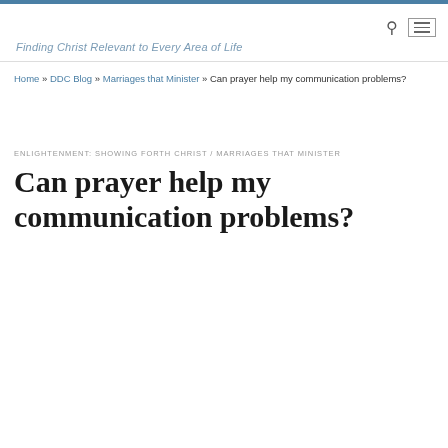Finding Christ Relevant to Every Area of Life
Home » DDC Blog » Marriages that Minister » Can prayer help my communication problems?
ENLIGHTENMENT: SHOWING FORTH CHRIST / MARRIAGES THAT MINISTER
Can prayer help my communication problems?